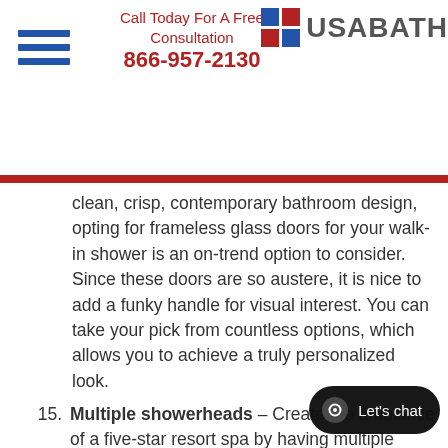Call Today For A Free Consultation 866-957-2130 USA BATH
clean, crisp, contemporary bathroom design, opting for frameless glass doors for your walk-in shower is an on-trend option to consider. Since these doors are so austere, it is nice to add a funky handle for visual interest. You can take your pick from countless options, which allows you to achieve a truly personalized look.
15. Multiple showerheads – Create the ambiance of a five-star resort spa by having multiple showerheads installed in your walk-in shower. Start out with a luxurious rainfall showerhead on the ceiling, and then add various nozzles and spray types to the walls for a truly immersive, opulent experience. There are tons of options to choose from, so you can create a one-of-a-kind